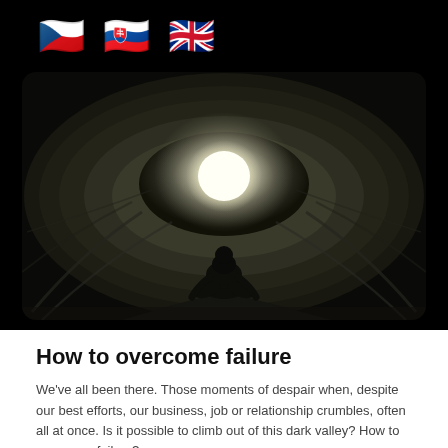🇨🇿 🇸🇰 🇬🇧
[Figure (photo): Dark tunnel with rough stone walls curving inward, bright white light visible at the far end, silhouette of a person or figure crouching near the bottom center.]
How to overcome failure
We've all been there. Those moments of despair when, despite our best efforts, our business, job or relationship crumbles, often all at once. Is it possible to climb out of this dark valley? How to overcome failure?